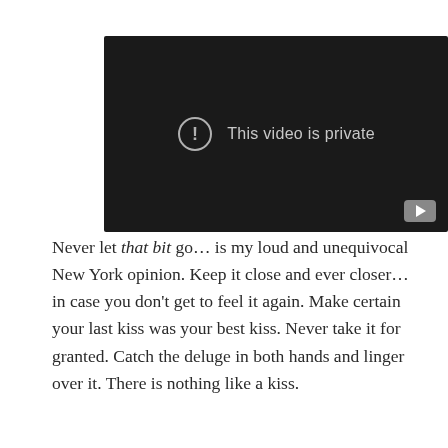[Figure (screenshot): A dark video player showing 'This video is private' message with an exclamation icon and a YouTube play button in the bottom right corner.]
Never let that bit go… is my loud and unequivocal New York opinion. Keep it close and ever closer… in case you don't get to feel it again. Make certain your last kiss was your best kiss. Never take it for granted. Catch the deluge in both hands and linger over it. There is nothing like a kiss.